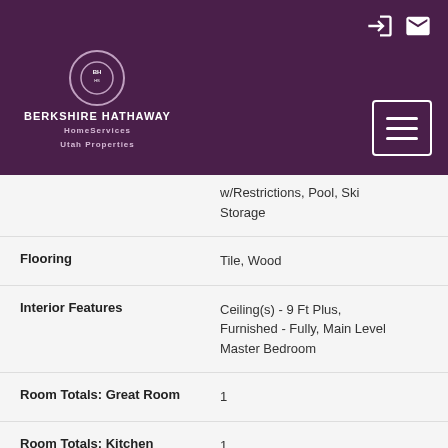[Figure (logo): Berkshire Hathaway HomeServices Utah Properties logo in white on dark purple header]
| Field | Value |
| --- | --- |
| (partial row) | w/Restrictions, Pool, Ski Storage |
| Flooring | Tile, Wood |
| Interior Features | Ceiling(s) - 9 Ft Plus, Furnished - Fully, Main Level Master Bedroom |
| Room Totals: Great Room | 1 |
| Room Totals: Kitchen | 1 |
| Room Totals: Laundry | 1 |